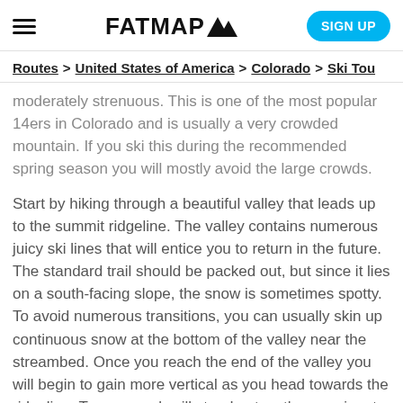FATMAP [logo] | SIGN UP
Routes > United States of America > Colorado > Ski Tou
moderately strenuous. This is one of the most popular 14ers in Colorado and is usually a very crowded mountain. If you ski this during the recommended spring season you will mostly avoid the large crowds.
Start by hiking through a beautiful valley that leads up to the summit ridgeline. The valley contains numerous juicy ski lines that will entice you to return in the future. The standard trail should be packed out, but since it lies on a south-facing slope, the snow is sometimes spotty. To avoid numerous transitions, you can usually skin up continuous snow at the bottom of the valley near the streambed. Once you reach the end of the valley you will begin to gain more vertical as you head towards the ridgeline. Torreys peak will stand out as the prominent peak at the end of the valley with Dead